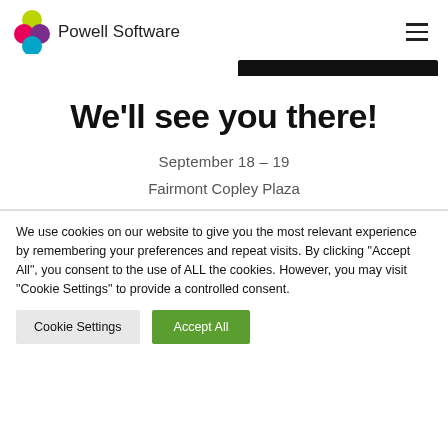Powell Software
We’ll see you there!
September 18 – 19
Fairmont Copley Plaza
We use cookies on our website to give you the most relevant experience by remembering your preferences and repeat visits. By clicking “Accept All”, you consent to the use of ALL the cookies. However, you may visit “Cookie Settings” to provide a controlled consent.